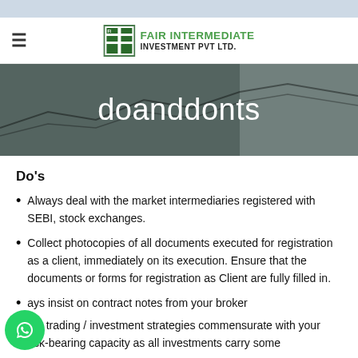[Figure (logo): Fair Intermediate Investment Pvt Ltd logo with green icon and text]
doanddonts
Do's
Always deal with the market intermediaries registered with SEBI, stock exchanges.
Collect photocopies of all documents executed for registration as a client, immediately on its execution. Ensure that the documents or forms for registration as Client are fully filled in.
Always insist on contract notes from your broker
Adopt trading / investment strategies commensurate with your risk-bearing capacity as all investments carry some